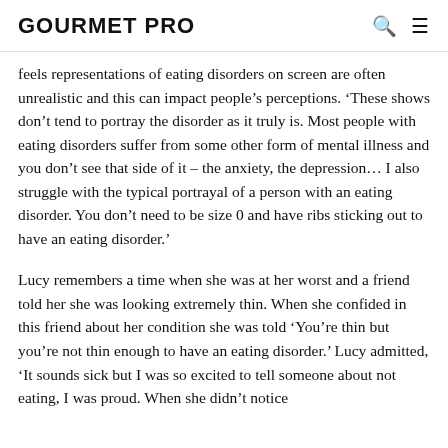GOURMET PRO
feels representations of eating disorders on screen are often unrealistic and this can impact people’s perceptions. ‘These shows don’t tend to portray the disorder as it truly is. Most people with eating disorders suffer from some other form of mental illness and you don’t see that side of it – the anxiety, the depression… I also struggle with the typical portrayal of a person with an eating disorder. You don’t need to be size 0 and have ribs sticking out to have an eating disorder.’
Lucy remembers a time when she was at her worst and a friend told her she was looking extremely thin. When she confided in this friend about her condition she was told ‘You’re thin but you’re not thin enough to have an eating disorder.’ Lucy admitted, ‘It sounds sick but I was so excited to tell someone about not eating, I was proud. When she didn’t notice how bad the situation was I distinctly…